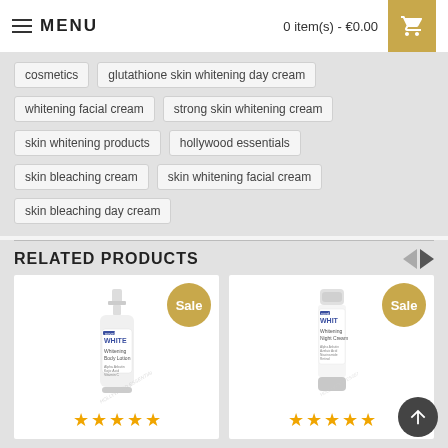MENU   0 item(s) - €0.00
cosmetics
glutathione skin whitening day cream
whitening facial cream
strong skin whitening cream
skin whitening products
hollywood essentials
skin bleaching cream
skin whitening facial cream
skin bleaching day cream
RELATED PRODUCTS
[Figure (photo): Whitening Body Lotion product bottle with pump dispenser, Sale badge, 5-star rating]
[Figure (photo): Whitening Night Cream tube product, Sale badge, 5-star rating]